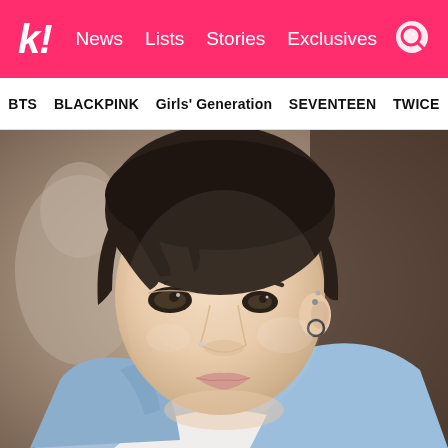K! News Lists Stories Exclusives
BTS BLACKPINK Girls' Generation SEVENTEEN TWICE
[Figure (photo): Close-up portrait of a young Asian male with dark bowl-cut hair, wearing a light blue denim jacket over a white shirt. He has small hoop and stud earrings and a subtle nose piercing. Soft-focus blurred background with warm, natural lighting.]